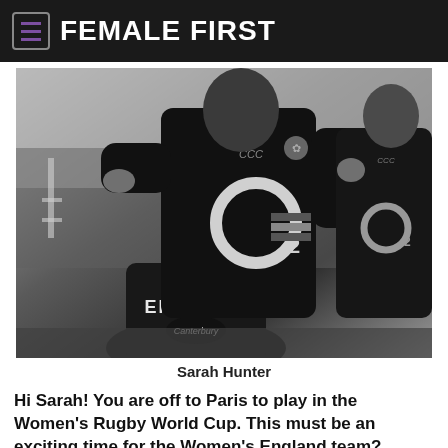FEMALE FIRST
[Figure (photo): Black and white photo of England women's rugby players training, wearing Canterbury O2-sponsored jerseys. One player's back shows 'ENGLAND' text.]
Sarah Hunter
Hi Sarah! You are off to Paris to play in the Women's Rugby World Cup. This must be an exciting time for the Women's England team?
Yes it is! It's really exciting especially as we are further in the competition. All the training that we have done...